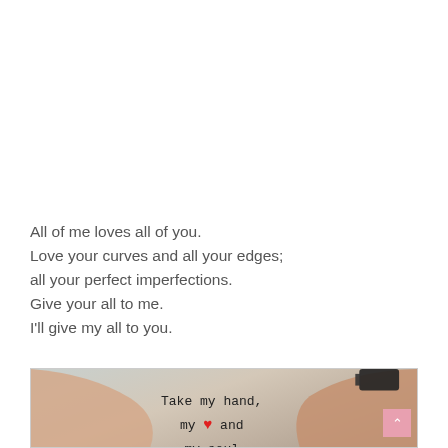All of me loves all of you.
Love your curves and all your edges;
all your perfect imperfections.
Give your all to me.
I'll give my all to you.
[Figure (photo): Photo of two hands with pinky fingers linked, with anchor tattoos on fingers, one person wearing a black watch and the other wearing a ring. Text overlay reads: 'Take my hand, my [red heart] and my soul']